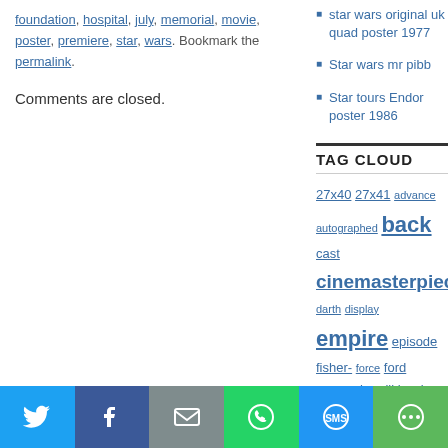foundation, hospital, july, memorial, movie, poster, premiere, star, wars. Bookmark the permalink.
Comments are closed.
star wars original uk quad poster 1977
Star wars mr pibb
Star tours Endor poster 1986
TAG CLOUD
27x40 27x41 advance autographed back cast cinemasterpieces darth display empire episode fisher- force ford george hamill harrison hope japanese jedi lucas mandalorian mark mint movie original